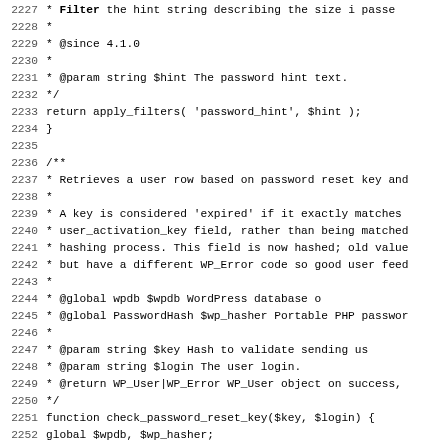Code listing lines 2227-2259, PHP source code for WordPress password functions including apply_filters password_hint and check_password_reset_key function definition.